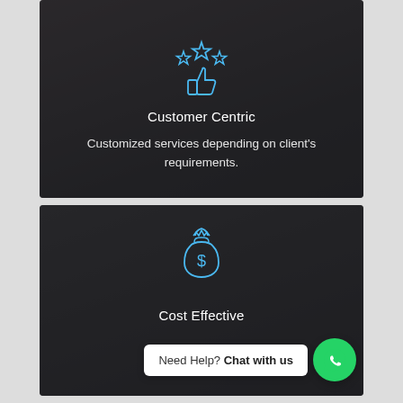[Figure (illustration): Blue outline icon of a thumbs-up hand with three stars above it, on a dark overlay background with business people shaking hands in the background]
Customer Centric
Customized services depending on client's requirements.
[Figure (illustration): Blue outline icon of a money bag with a dollar sign, on a dark overlay background with charts and business data in the background]
Cost Effective
Need Help? Chat with us